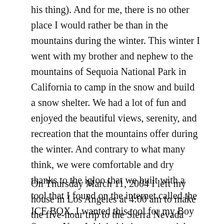his thing). And for me, there is no other place I would rather be than in the mountains during the winter. This winter I went with my brother and nephew to the mountains of Sequoia National Park in California to camp in the snow and build a snow shelter. We had a lot of fun and enjoyed the beautiful views, serenity, and recreation that the mountains offer during the winter. And contrary to what many think, we were comfortable and dry thanks to the igloo that we built with a tool that I found on the internet called the ICE BOX. I wanted this tool for my Boy Scouts. Now I think this is an essential piece of camping equipment if one wants to be comfortable in the snow.
On Thursday March 11, 2004 I left my house in Los Angeles at 4:00 am to make the five-hour trip to the Sierra Nevada mountains and to meet my